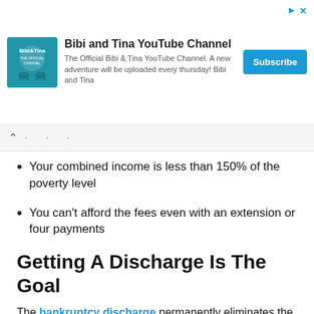[Figure (other): Bibi and Tina YouTube Channel advertisement banner with logo, description text, and Subscribe button]
Your combined income is less than 150% of the poverty level
You can't afford the fees even with an extension or four payments
Getting A Discharge Is The Goal
The bankruptcy discharge permanently eliminates the filerâs obligation to repay their debt. As long as the filer meets all legal requirements, a discharge will be granted by the court. The bankruptcy discharge is permanent and applies to all debts, except those designated as